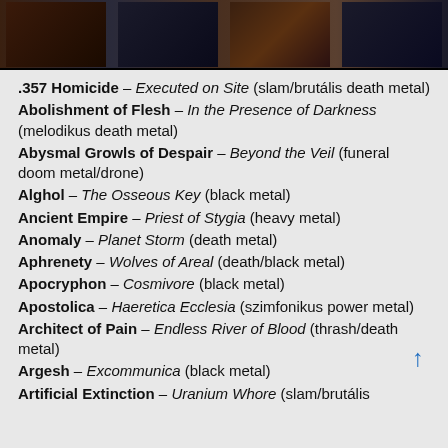[Figure (photo): Strip of four album cover images at the top of the page, dark toned metal album art]
.357 Homicide – Executed on Site (slam/brutális death metal)
Abolishment of Flesh – In the Presence of Darkness (melodikus death metal)
Abysmal Growls of Despair – Beyond the Veil (funeral doom metal/drone)
Alghol – The Osseous Key (black metal)
Ancient Empire – Priest of Stygia (heavy metal)
Anomaly – Planet Storm (death metal)
Aphrenety – Wolves of Areal (death/black metal)
Apocryphon – Cosmivore (black metal)
Apostolica – Haeretica Ecclesia (szimfonikus power metal)
Architect of Pain – Endless River of Blood (thrash/death metal)
Argesh – Excommunica (black metal)
Artificial Extinction – Uranium Whore (slam/brutális